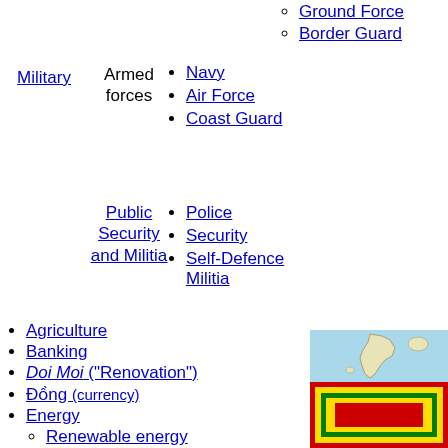Ground Force
Border Guard
Military – Armed forces
Navy
Air Force
Coast Guard
Public Security and Militia
Police
Security
Self-Defence Militia
Agriculture
Banking
Doi Moi ("Renovation")
Đồng (currency)
Energy
Renewable energy
Nuclear power
Power stations
Foreign aid
Foreign trade
Five-Year Plans
Manufacturing
[Figure (map): Map of Vietnam]
[Figure (illustration): Flag of Vietnam - red background with yellow border and green inner rectangle with red center square]